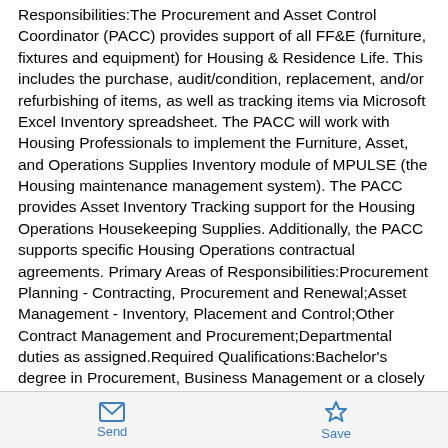Responsibilities:The Procurement and Asset Control Coordinator (PACC) provides support of all FF&E (furniture, fixtures and equipment) for Housing & Residence Life. This includes the purchase, audit/condition, replacement, and/or refurbishing of items, as well as tracking items via Microsoft Excel Inventory spreadsheet. The PACC will work with Housing Professionals to implement the Furniture, Asset, and Operations Supplies Inventory module of MPULSE (the Housing maintenance management system). The PACC provides Asset Inventory Tracking support for the Housing Operations Housekeeping Supplies. Additionally, the PACC supports specific Housing Operations contractual agreements. Primary Areas of Responsibilities:Procurement Planning - Contracting, Procurement and Renewal;Asset Management - Inventory, Placement and Control;Other Contract Management and Procurement;Departmental duties as assigned.Required Qualifications:Bachelor's degree in Procurement, Business Management or a closely related field, and demonstrated full time experience in Procurement,
Send  Save